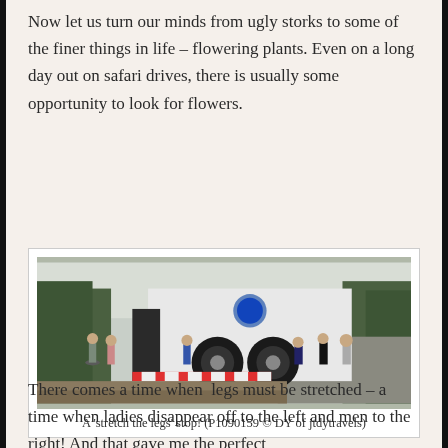Now let us turn our minds from ugly storks to some of the finer things in life – flowering plants. Even on a long day out on safari drives, there is usually some opportunity to look for flowers.
[Figure (photo): Group of people standing around a large white truck/safari vehicle stopped on a road, with trees in the background. A 'stretch the legs' stop.]
A 'stretch the legs' stop! (P1090159 © DY of jtdytravels)
There comes a time when  legs must be stretched – a time when ladies disappear off to the left and men to the right!  And that gave me the perfect